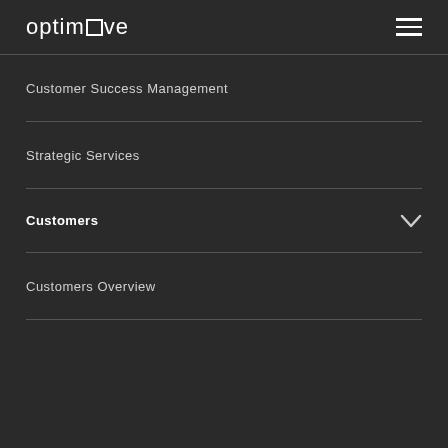optimove
Customer Success Management
Strategic Services
Customers
Customers Overview